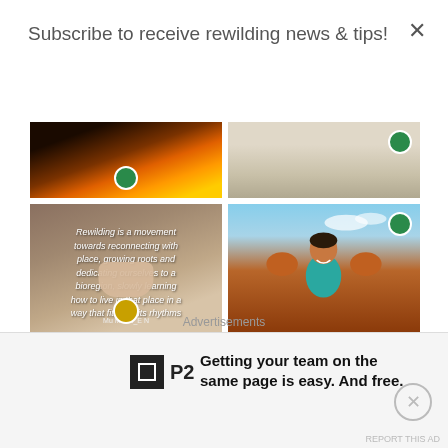Subscribe to receive rewilding news & tips!
[Figure (photo): A 2x2 grid of Instagram-style photos: top-left shows a campfire at night, top-right shows an outdoor shadow scene, bottom-left shows feet on stones with a rewilding quote overlay, bottom-right shows a smiling woman with red-ochre-painted hands in the Australian outback.]
Advertisements
[Figure (logo): P2 logo — a black square with a smaller bordered square inside, next to the text 'P2']
Getting your team on the same page is easy. And free.